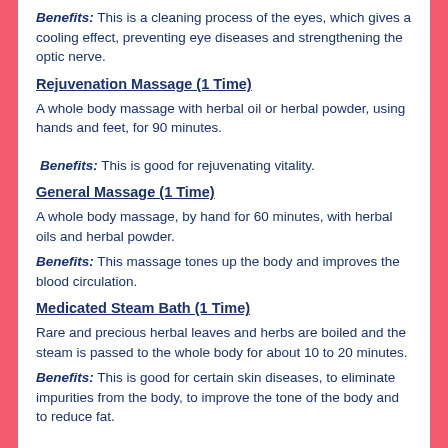Benefits: This is a cleaning process of the eyes, which gives a cooling effect, preventing eye diseases and strengthening the optic nerve.
Rejuvenation Massage (1 Time)
A whole body massage with herbal oil or herbal powder, using hands and feet, for 90 minutes.
Benefits: This is good for rejuvenating vitality.
General Massage (1 Time)
A whole body massage, by hand for 60 minutes, with herbal oils and herbal powder.
Benefits: This massage tones up the body and improves the blood circulation.
Medicated Steam Bath (1 Time)
Rare and precious herbal leaves and herbs are boiled and the steam is passed to the whole body for about 10 to 20 minutes.
Benefits: This is good for certain skin diseases, to eliminate impurities from the body, to improve the tone of the body and to reduce fat.